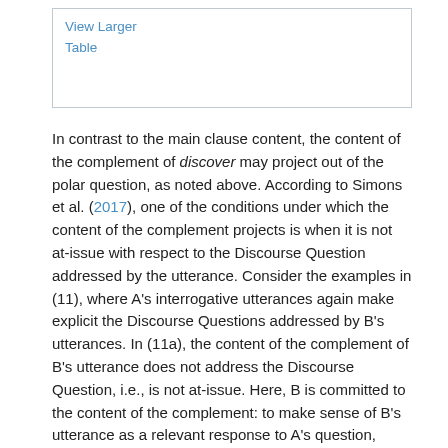| View Larger |
| Table |
In contrast to the main clause content, the content of the complement of discover may project out of the polar question, as noted above. According to Simons et al. (2017), one of the conditions under which the content of the complement projects is when it is not at-issue with respect to the Discourse Question addressed by the utterance. Consider the examples in (11), where A's interrogative utterances again make explicit the Discourse Questions addressed by B's utterances. In (11a), the content of the complement of B's utterance does not address the Discourse Question, i.e., is not at-issue. Here, B is committed to the content of the complement: to make sense of B's utterance as a relevant response to A's question, there must be a connection between the possibility of Henry discovering something about Harriet and Henry's mood; an obvious connection is that B is committed to the content of the complement, that Harriet was at Princeton for a job interview. Thus,